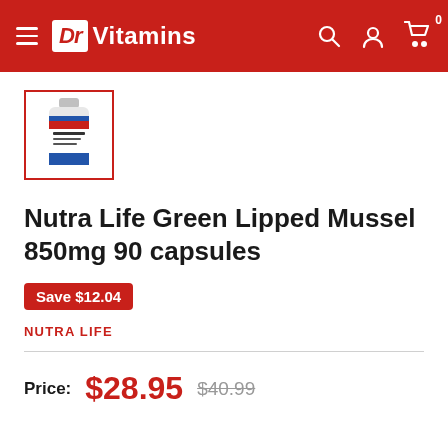Dr Vitamins
[Figure (photo): Thumbnail image of Nutra Life Green Lipped Mussel 850mg 90 capsules bottle, shown in a small red-bordered box]
Nutra Life Green Lipped Mussel 850mg 90 capsules
Save $12.04
NUTRA LIFE
Price: $28.95  $40.99